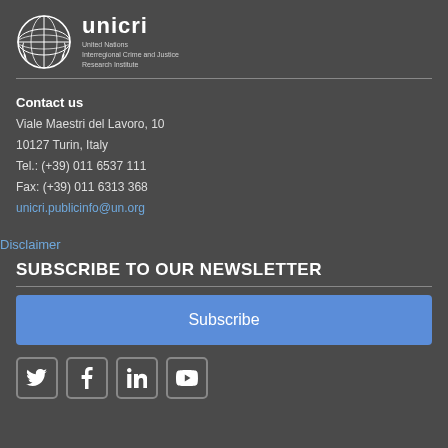[Figure (logo): UNICRI logo with UN emblem and text 'unicri United Nations Interregional Crime and Justice Research Institute']
Contact us
Viale Maestri del Lavoro, 10
10127 Turin, Italy
Tel.: (+39) 011 6537 111
Fax: (+39) 011 6313 368
unicri.publicinfo@un.org
Disclaimer
SUBSCRIBE TO OUR NEWSLETTER
Subscribe
[Figure (other): Social media icons: Twitter, Facebook, LinkedIn, YouTube]